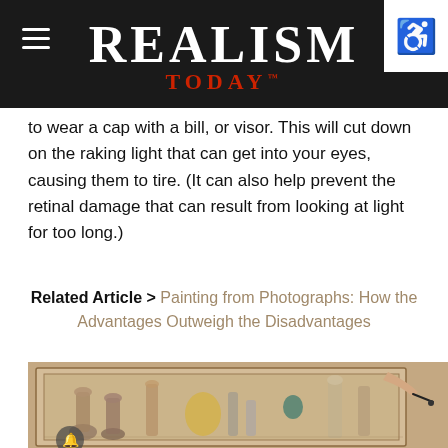REALISM TODAY
to wear a cap with a bill, or visor. This will cut down on the raking light that can get into your eyes, causing them to tire. (It can also help prevent the retinal damage that can result from looking at light for too long.)
Related Article > Painting from Photographs: How the Advantages Outweigh the Disadvantages
[Figure (photo): A hand holding a paintbrush working on a still life painting with bottles and vases on a canvas]